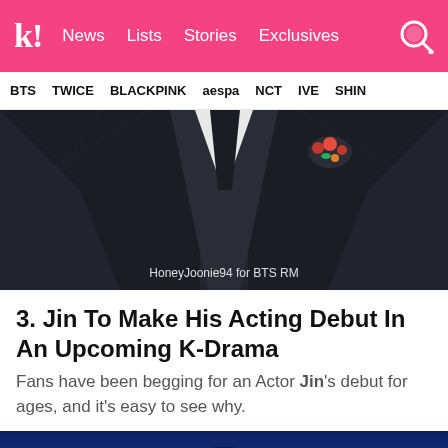k! News Lists Stories Exclusives
BTS TWICE BLACKPINK aespa NCT IVE SHIN
[Figure (photo): Close-up photo of a person wearing a dark suit with a floral boutonniere. Watermark reads: HoneyJoonie94 for BTS RM]
3. Jin To Make His Acting Debut In An Upcoming K-Drama
Fans have been begging for an Actor Jin's debut for ages, and it's easy to see why.
[Figure (photo): Partial bottom image strip showing a dark blue/navy background, appears to be beginning of another photo.]